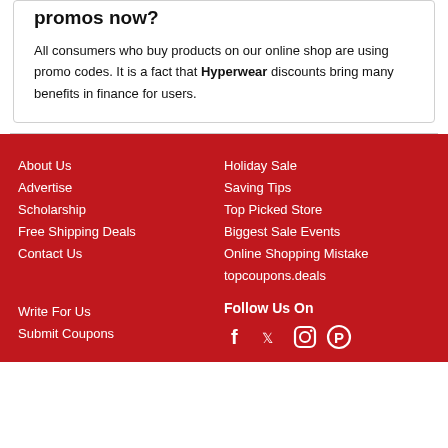promos now?
All consumers who buy products on our online shop are using promo codes. It is a fact that Hyperwear discounts bring many benefits in finance for users.
About Us
Advertise
Scholarship
Free Shipping Deals
Contact Us
Holiday Sale
Saving Tips
Top Picked Store
Biggest Sale Events
Online Shopping Mistake
topcoupons.deals
Write For Us
Submit Coupons
Follow Us On
[Figure (other): Social media icons: Facebook, Twitter, Instagram, Pinterest]